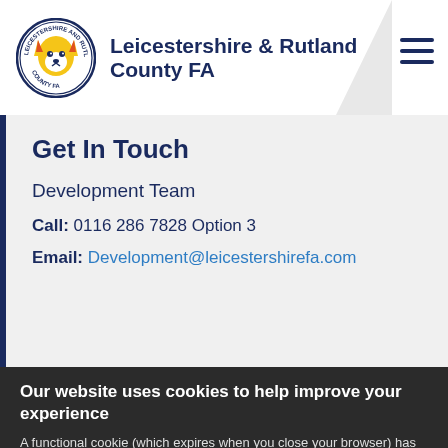Leicestershire & Rutland County FA
Get In Touch
Development Team
Call: 0116 286 7828 Option 3
Email: Development@leicestershirefa.com
Our website uses cookies to help improve your experience
A functional cookie (which expires when you close your browser) has already been placed on your machine. More details
ACCEPT COOKIES